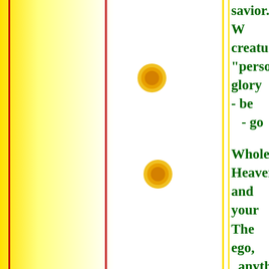[Figure (illustration): Yellow gradient left panel with red border lines, white daisy flowers in the center-right, and yellow vertical lines]
savior. W creatures "personal glory - be - go Wholenes Heaven, and your The ego, anythin itself....(at Ego is th Tha person th